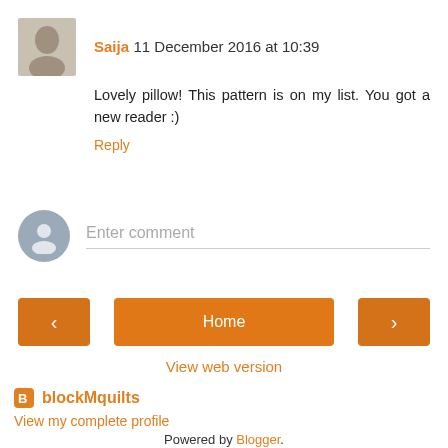Saija  11 December 2016 at 10:39
Lovely pillow! This pattern is on my list. You got a new reader :)
Reply
Enter comment
Home
View web version
blockMquilts
View my complete profile
Powered by Blogger.